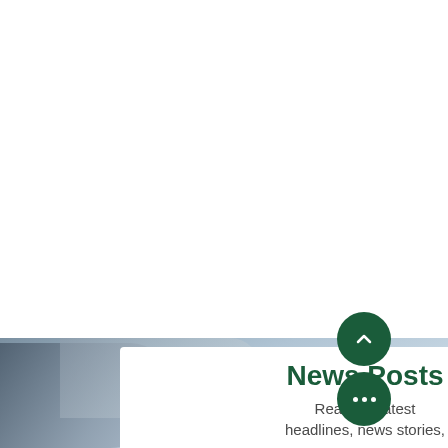[Figure (photo): Blurred photograph of rolled or stacked newspapers in blue-grey tones, partially visible at the bottom portion of the page. Overlaid with a white card showing title and subtitle text, and two green circular buttons.]
News Posts
Read the latest headlines, news stories,